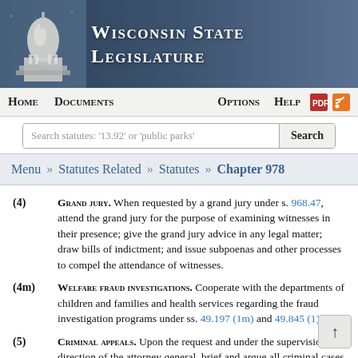Wisconsin State Legislature
Home   Documents   Options   Help
Search statutes: '13.92' or 'public parks'
Menu » Statutes Related » Statutes » Chapter 978
(4) Grand Jury. When requested by a grand jury under s. 968.47, attend the grand jury for the purpose of examining witnesses in their presence; give the grand jury advice in any legal matter; draw bills of indictment; and issue subpoenas and other processes to compel the attendance of witnesses.
(4m) Welfare fraud investigations. Cooperate with the departments of children and families and health services regarding the fraud investigation programs under ss. 49.197 (1m) and 49.845 (1).
(5) Criminal appeals. Upon the request and under the supervision and direction of the attorney general, brief and argue all criminal cases brought by appeal or writ of error or certificate...